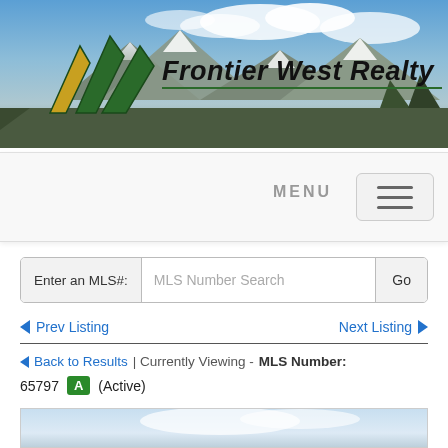[Figure (photo): Frontier West Realty banner with mountain landscape and logo]
Frontier West Realty
[Figure (screenshot): Navigation bar with MENU label and hamburger button]
Enter an MLS#:  MLS Number Search  Go
◄ Prev Listing    Next Listing ►
← Back to Results | Currently Viewing -  MLS Number: 65797  A  (Active)
[Figure (photo): Property photo showing sky and landscape (partially visible)]